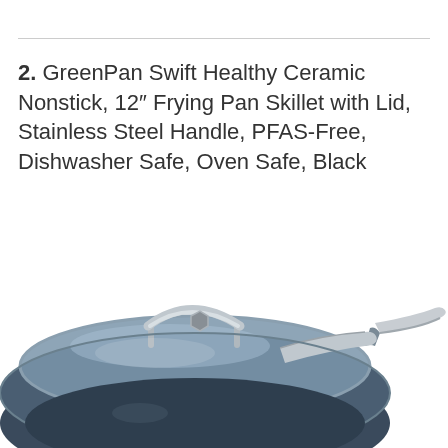2. GreenPan Swift Healthy Ceramic Nonstick, 12" Frying Pan Skillet with Lid, Stainless Steel Handle, PFAS-Free, Dishwasher Safe, Oven Safe, Black
[Figure (photo): A GreenPan Swift black ceramic nonstick 12-inch frying pan skillet with a glass lid and stainless steel handle, photographed from above at an angle showing the lid on the pan.]